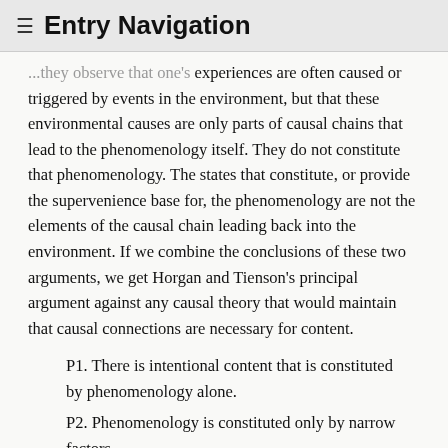≡ Entry Navigation
...they observe that one's experiences are often caused or triggered by events in the environment, but that these environmental causes are only parts of causal chains that lead to the phenomenology itself. They do not constitute that phenomenology. The states that constitute, or provide the supervenience base for, the phenomenology are not the elements of the causal chain leading back into the environment. If we combine the conclusions of these two arguments, we get Horgan and Tienson's principal argument against any causal theory that would maintain that causal connections are necessary for content.
P1. There is intentional content that is constituted by phenomenology alone.
P2. Phenomenology is constituted only by narrow factors.
Therefore,
C. There is intentional content that is constituted